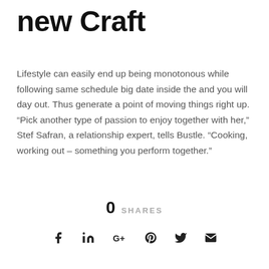new Craft
Lifestyle can easily end up being monotonous while following same schedule big date inside the and you will day out. Thus generate a point of moving things right up. “Pick another type of passion to enjoy together with her,” Stef Safran, a relationship expert, tells Bustle. “Cooking, working out – something you perform together.”
0 SHARES
social share icons: facebook, linkedin, google+, pinterest, twitter, email